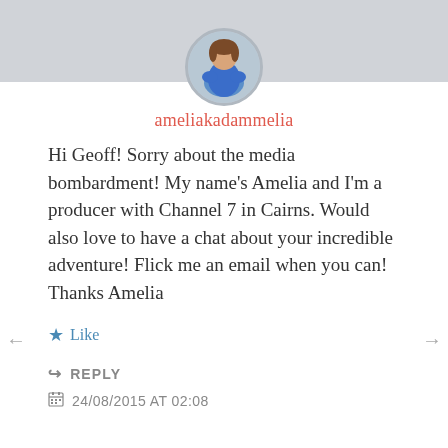[Figure (photo): Circular avatar photo of a woman in a blue dress on a gray/silver banner background]
ameliakadammelia
Hi Geoff! Sorry about the media bombardment! My name's Amelia and I'm a producer with Channel 7 in Cairns. Would also love to have a chat about your incredible adventure! Flick me an email when you can! Thanks Amelia
★ Like
↪ REPLY
📅 24/08/2015 AT 02:08